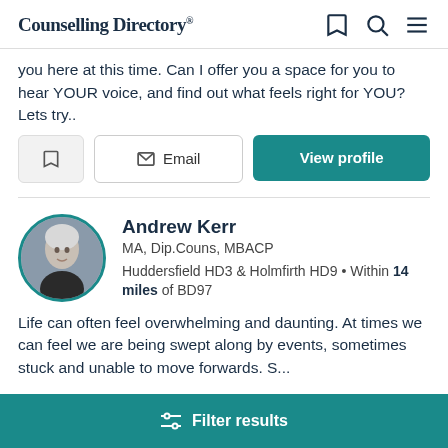Counselling Directory
you here at this time. Can I offer you a space for you to hear YOUR voice, and find out what feels right for YOU? Lets try..
Andrew Kerr
MA, Dip.Couns, MBACP
Huddersfield HD3 & Holmfirth HD9 • Within 14 miles of BD97
Life can often feel overwhelming and daunting. At times we can feel we are being swept along by events, sometimes stuck and unable to move forwards. S...